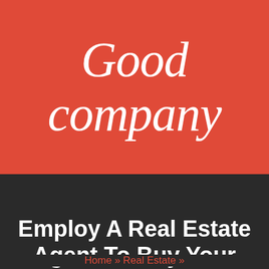[Figure (logo): Good company logo in white cursive/script font on a red-orange background]
[Figure (other): Black navigation bar with hamburger menu icon on the right]
Employ A Real Estate Agent To Buy Your Home
Home » Real Estate »